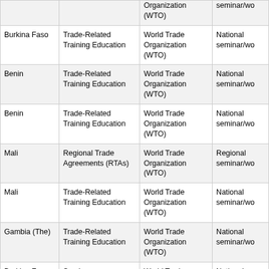| Country | Topic | Organization | Type |
| --- | --- | --- | --- |
|  |  | Organization (WTO) | seminar/wo... |
| Burkina Faso | Trade-Related Training Education | World Trade Organization (WTO) | National seminar/wo... |
| Benin | Trade-Related Training Education | World Trade Organization (WTO) | National seminar/wo... |
| Benin | Trade-Related Training Education | World Trade Organization (WTO) | National seminar/wo... |
| Mali | Regional Trade Agreements (RTAs) | World Trade Organization (WTO) | Regional seminar/wo... |
| Mali | Trade-Related Training Education | World Trade Organization (WTO) | National seminar/wo... |
| Gambia (The) | Trade-Related Training Education | World Trade Organization (WTO) | National seminar/wo... |
| Burkina Faso | Services | World Trade Organization (WTO) | National seminar/wo... |
| Togo | Tariff Negotiations - Non-Agricultural Market Access | World Trade Organization (WTO) | National seminar/wo... |
| Senegal | Trade and Environment | World Trade Organization (WTO) | Regional seminar/wo... |
| Senegal | Trade Mainstreaming in PRSPs/dev. plans | World Trade Organization (WTO) | Conference Meeting |
| Benin | Trade-Related Training Education | World Trade Organization (WTO) | Regional Tr... Policy Cou... |
| Cape Verde | Services | World Trade Organization (WTO) | Regional seminar/wo... |